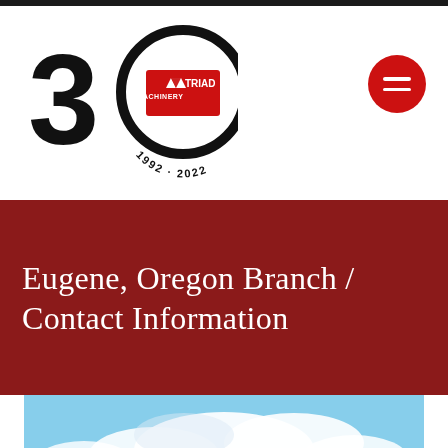[Figure (logo): Triad Machinery 30th anniversary logo (1992-2022) with large '30' numeral and triangle Triad Machinery badge inside]
[Figure (other): Red circular hamburger menu button with two white horizontal lines]
Eugene, Oregon Branch / Contact Information
[Figure (photo): Exterior photo of Triad Machinery branch location with blue sky, white clouds, green trees, and a Triad Machinery sign in front of a building]